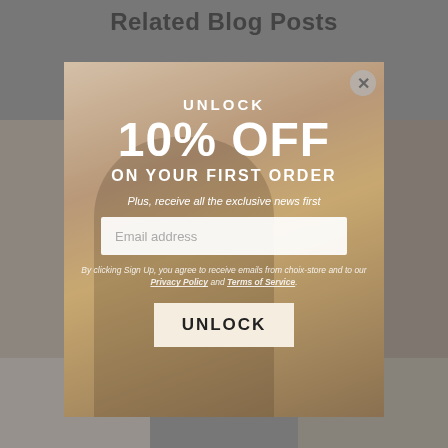Related Blog Posts
[Figure (screenshot): Popup modal overlay on a blog page. Modal shows a promotional discount offer with text 'UNLOCK', '10% OFF', 'ON YOUR FIRST ORDER', 'Plus, receive all the exclusive news first', an email address input field, a disclaimer about privacy policy and terms of service, and an UNLOCK button. Background shows dimmed blog post thumbnails.]